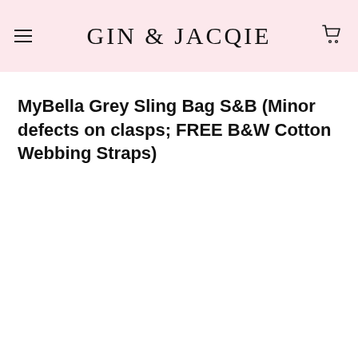GIN & JACQIE
MyBella Grey Sling Bag S&B (Minor defects on clasps; FREE B&W Cotton Webbing Straps)